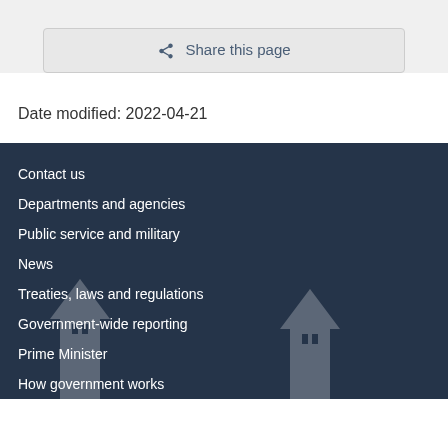Share this page
Date modified: 2022-04-21
Contact us
Departments and agencies
Public service and military
News
Treaties, laws and regulations
Government-wide reporting
Prime Minister
How government works